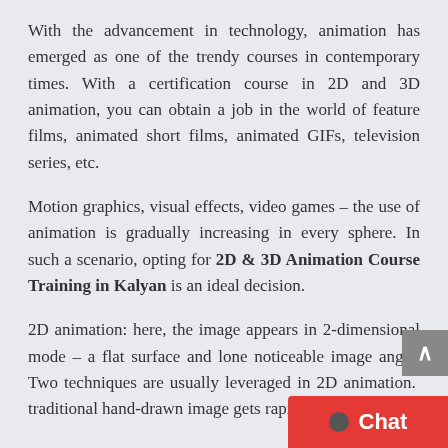With the advancement in technology, animation has emerged as one of the trendy courses in contemporary times. With a certification course in 2D and 3D animation, you can obtain a job in the world of feature films, animated short films, animated GIFs, television series, etc.
Motion graphics, visual effects, video games – the use of animation is gradually increasing in every sphere. In such a scenario, opting for 2D & 3D Animation Course Training in Kalyan is an ideal decision.
2D animation: here, the image appears in 2-dimensional mode – a flat surface and lone noticeable image angle. Two techniques are usually leveraged in 2D animation. traditional hand-drawn image gets rapidly